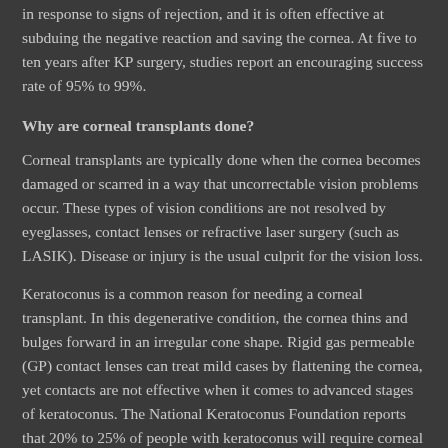in response to signs of rejection, and it is often effective at subduing the negative reaction and saving the cornea. At five to ten years after KP surgery, studies report an encouraging success rate of 95% to 99%.
Why are corneal transplants done?
Corneal transplants are typically done when the cornea becomes damaged or scarred in a way that uncorrectable vision problems occur. These types of vision conditions are not resolved by eyeglasses, contact lenses or refractive laser surgery (such as LASIK). Disease or injury is the usual culprit for the vision loss.
Keratoconus is a common reason for needing a corneal transplant. In this degenerative condition, the cornea thins and bulges forward in an irregular cone shape. Rigid gas permeable (GP) contact lenses can treat mild cases by flattening the cornea, yet contacts are not effective when it comes to advanced stages of keratoconus. The National Keratoconus Foundation reports that 20% to 25% of people with keratoconus will require corneal transplant surgery.